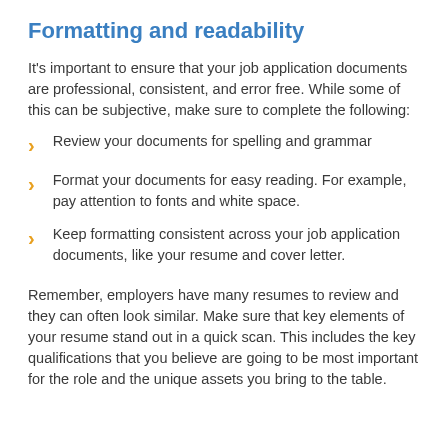Formatting and readability
It's important to ensure that your job application documents are professional, consistent, and error free. While some of this can be subjective, make sure to complete the following:
Review your documents for spelling and grammar
Format your documents for easy reading. For example, pay attention to fonts and white space.
Keep formatting consistent across your job application documents, like your resume and cover letter.
Remember, employers have many resumes to review and they can often look similar. Make sure that key elements of your resume stand out in a quick scan. This includes the key qualifications that you believe are going to be most important for the role and the unique assets you bring to the table.